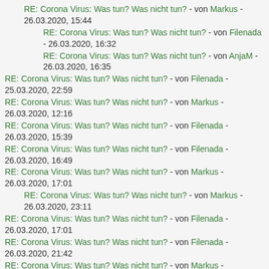RE: Corona Virus: Was tun? Was nicht tun? - von Markus - 26.03.2020, 15:44
RE: Corona Virus: Was tun? Was nicht tun? - von Filenada - 26.03.2020, 16:32
RE: Corona Virus: Was tun? Was nicht tun? - von AnjaM - 26.03.2020, 16:35
RE: Corona Virus: Was tun? Was nicht tun? - von Filenada - 25.03.2020, 22:59
RE: Corona Virus: Was tun? Was nicht tun? - von Markus - 26.03.2020, 12:16
RE: Corona Virus: Was tun? Was nicht tun? - von Filenada - 26.03.2020, 15:39
RE: Corona Virus: Was tun? Was nicht tun? - von Filenada - 26.03.2020, 16:49
RE: Corona Virus: Was tun? Was nicht tun? - von Markus - 26.03.2020, 17:01
RE: Corona Virus: Was tun? Was nicht tun? - von Markus - 26.03.2020, 23:11
RE: Corona Virus: Was tun? Was nicht tun? - von Filenada - 26.03.2020, 17:01
RE: Corona Virus: Was tun? Was nicht tun? - von Filenada - 26.03.2020, 21:42
RE: Corona Virus: Was tun? Was nicht tun? - von Markus - 27.03.2020,